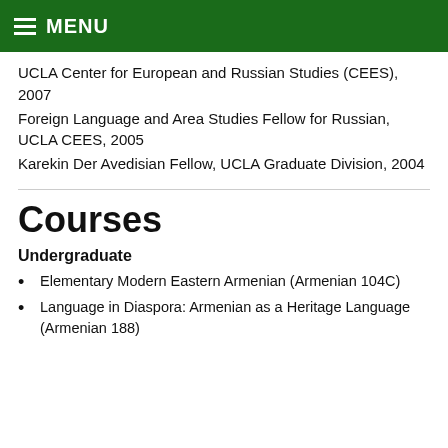MENU
UCLA Center for European and Russian Studies (CEES), 2007
Foreign Language and Area Studies Fellow for Russian, UCLA CEES, 2005
Karekin Der Avedisian Fellow, UCLA Graduate Division, 2004
Courses
Undergraduate
Elementary Modern Eastern Armenian (Armenian 104C)
Language in Diaspora: Armenian as a Heritage Language (Armenian 188)